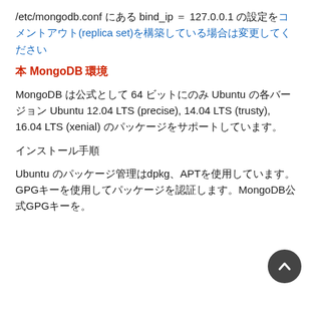/etc/mongodb.conf にある bind_ip = 127.0.0.1 の設定をコメントアウト(replica set)を構築している場合は変更してください
本 MongoDB 環境
MongoDB は公式として 64 ビットにのみ Ubuntu の各バージョン Ubuntu 12.04 LTS (precise), 14.04 LTS (trusty), 16.04 LTS (xenial) のパッケージをサポートしています。
インストール手順
Ubuntu のパッケージ管理はdpkg、APTを使用しています。GPGキーを使用してパッケージを認証します。MongoDB公式GPGキーを。